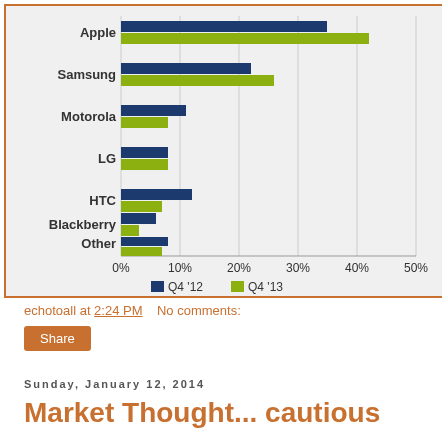[Figure (grouped-bar-chart): Smartphone Market Share]
echotoall at 2:24 PM   No comments:
Share
Sunday, January 12, 2014
Market Thought... cautious